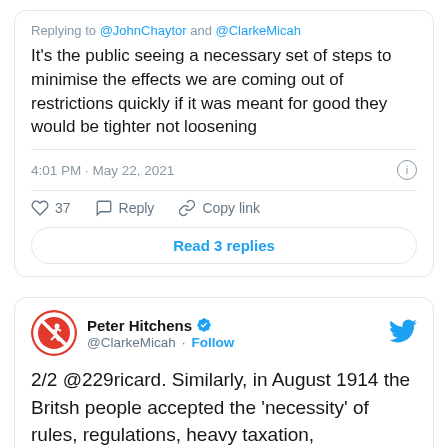Replying to @JohnChaytor and @ClarkeMicah
It's the public seeing a necessary set of steps to minimise the effects we are coming out of restrictions quickly if it was meant for good they would be tighter not loosening
4:01 PM · May 22, 2021
37  Reply  Copy link
Read 3 replies
Peter Hitchens @ClarkeMicah · Follow
2/2 @229ricard. Similarly, in August 1914 the Britsh people accepted the 'necessity' of rules, regulations, heavy taxation, conscription, rationing etc. By 1918 we were a different